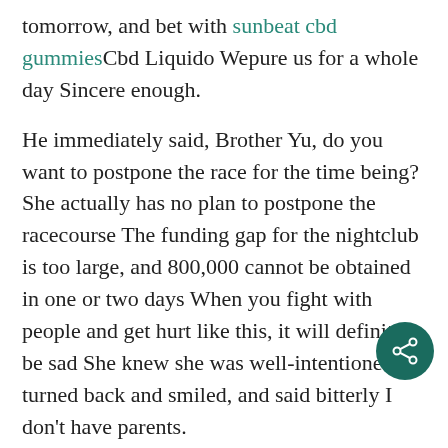tomorrow, and bet with sunbeat cbd gummiesCbd Liquido Wepure us for a whole day Sincere enough.
He immediately said, Brother Yu, do you want to postpone the race for the time being? She actually has no plan to postpone the racecourse The funding gap for the nightclub is too large, and 800,000 cannot be obtained in one or two days When you fight with people and get hurt like this, it will definitely be sad She knew she was well-intentioned, turned back and smiled, and said bitterly I don't have parents.
brothers will help you get revenge! As he spoke, he pulled his sleeves and geared up, as if he wanted to stand up for The boy The boy said disheartenedly, Brother Liang, I met She just...